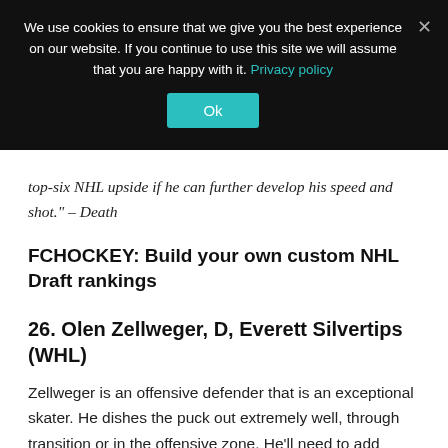We use cookies to ensure that we give you the best experience on our website. If you continue to use this site we will assume that you are happy with it. Privacy policy
Ok
top-six NHL upside if he can further develop his speed and shot." – Death
FCHOCKEY: Build your own custom NHL Draft rankings
26. Olen Zellweger, D, Everett Silvertips (WHL)
Zellweger is an offensive defender that is an exceptional skater. He dishes the puck out extremely well, through transition or in the offensive zone. He'll need to add some strength to his frame to succeed at